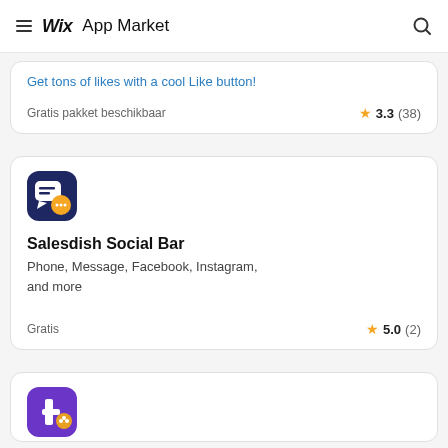Wix App Market
Get tons of likes with a cool Like button!
Gratis pakket beschikbaar   ★ 3.3 (38)
[Figure (logo): Salesdish Social Bar app icon: dark navy square with speech bubble and orange circle chat icon]
Salesdish Social Bar
Phone, Message, Facebook, Instagram, and more
Gratis   ★ 5.0 (2)
[Figure (logo): Partial view of a purple app icon with social media icons]